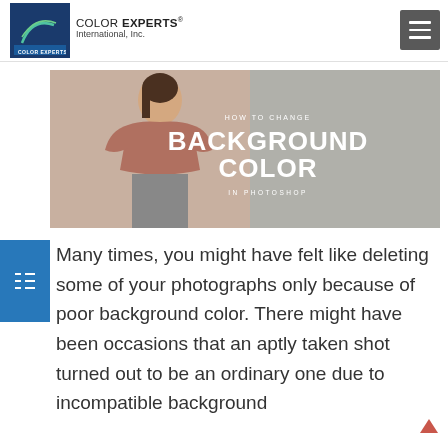COLOR EXPERTS International, Inc.
[Figure (photo): Hero banner image showing a woman in a brown t-shirt against a grey background with text overlay: HOW TO CHANGE BACKGROUND COLOR IN PHOTOSHOP]
Many times, you might have felt like deleting some of your photographs only because of poor background color. There might have been occasions that an aptly taken shot turned out to be an ordinary one due to incompatible background